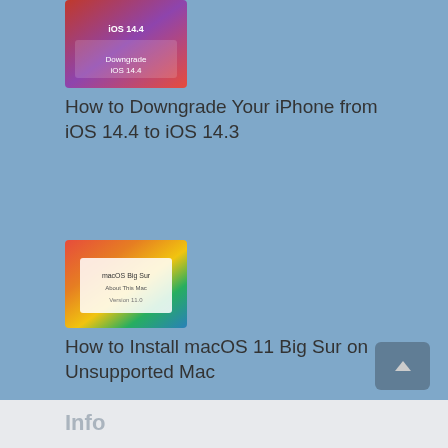[Figure (screenshot): Thumbnail image for iOS 14.4 downgrade article — red/purple gradient with iOS logo text]
How to Downgrade Your iPhone from iOS 14.4 to iOS 14.3
[Figure (screenshot): Thumbnail image for macOS Big Sur installation article — macOS Big Sur colorful gradient wallpaper with system info window]
How to Install macOS 11 Big Sur on Unsupported Mac
[Figure (photo): Thumbnail image for frozen cursor article — hands typing on a MacBook laptop]
How To Fix Frozen Cursor On MacBook
Info